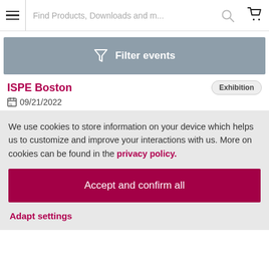Find Products, Downloads and m...
Filter events
ISPE Boston
Exhibition
09/21/2022
We use cookies to store information on your device which helps us to customize and improve your interactions with us. More on cookies can be found in the privacy policy.
Accept and confirm all
Adapt settings